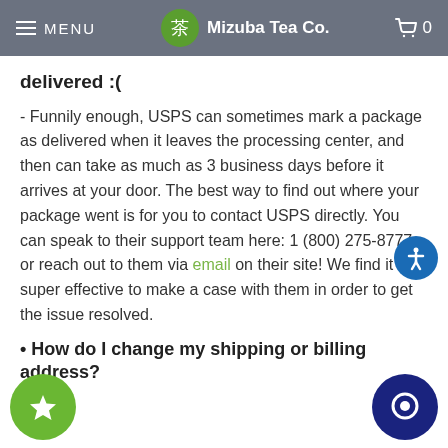MENU | 茶 Mizuba Tea Co. | 0
delivered :(
- Funnily enough, USPS can sometimes mark a package as delivered when it leaves the processing center, and then can take as much as 3 business days before it arrives at your door. The best way to find out where your package went is for you to contact USPS directly. You can speak to their support team here: 1 (800) 275-8777 or reach out to them via email on their site! We find it is super effective to make a case with them in order to get the issue resolved.
• How do I change my shipping or billing address?